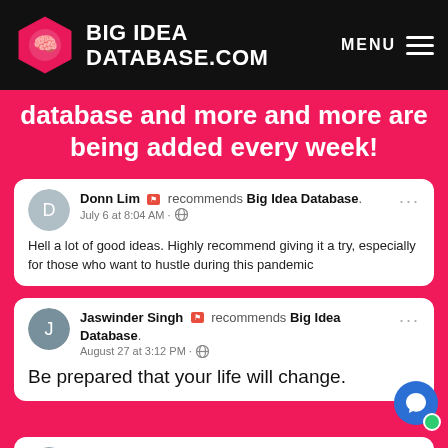BIG IDEA DATABASE.COM
database and more and more are being added every week!
Donn Lim recommends Big Idea Database. July 6 at 8:04 AM — Hell a lot of good ideas. Highly recommend giving it a try, especially for those who want to hustle during this pandemic
Jaswinder Singh recommends Big Idea Database. August 27 at 3:12 PM — Be prepared that your life will change.
Katie Harrison recommends Big Idea Database.